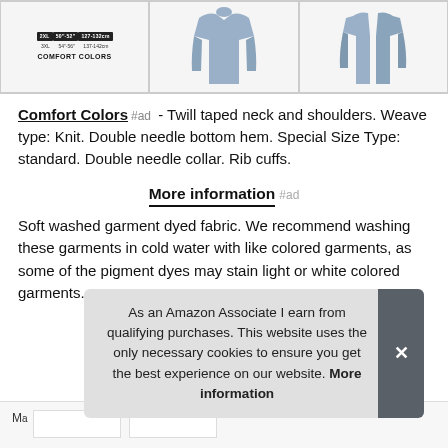[Figure (other): Three-panel product image strip showing size chart with Comfort Colors branding, and two views of a blue long-sleeve shirt]
Comfort Colors #ad - Twill taped neck and shoulders. Weave type: Knit. Double needle bottom hem. Special Size Type: standard. Double needle collar. Rib cuffs.
More information #ad
Soft washed garment dyed fabric. We recommend washing these garments in cold water with like colored garments, as some of the pigment dyes may stain light or white colored garments.
As an Amazon Associate I earn from qualifying purchases. This website uses the only necessary cookies to ensure you get the best experience on our website. More information